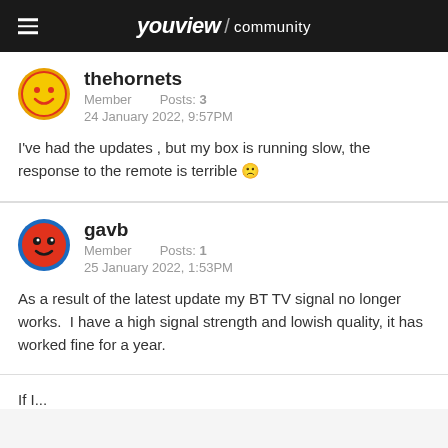youview / community
thehornets
Member    Posts: 3
24 January 2022, 9:57PM
I've had the updates , but my box is running slow, the response to the remote is terrible 🙁
gavb
Member    Posts: 1
25 January 2022, 1:53PM
As a result of the latest update my BT TV signal no longer works.  I have a high signal strength and lowish quality, it has worked fine for a year.
If I...